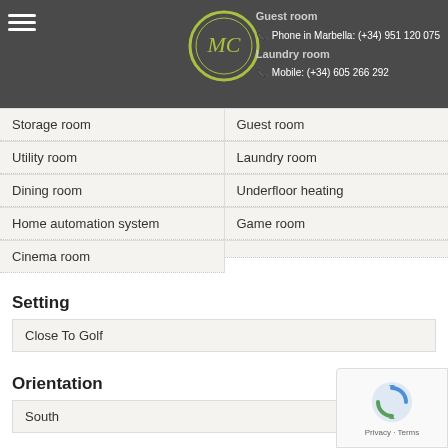Phone in Marbella: (+34) 951 120 075 | Mobile: (+34) 605 266 292
Storage room
Utility room
Dining room
Home automation system
Cinema room
Guest room
Laundry room
Underfloor heating
Game room
Setting
Close To Golf
Orientation
South
Condition
Excellent
Pool
Private
Climate Control
Air Conditioning
Hot A/C